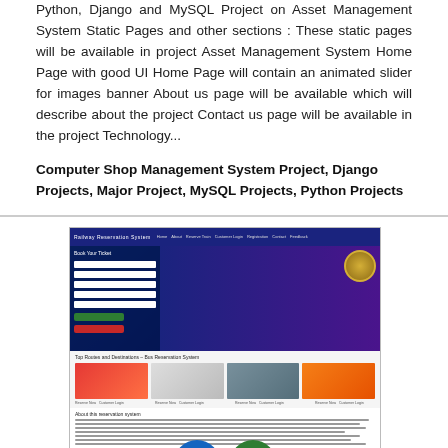Python, Django and MySQL Project on Asset Management System Static Pages and other sections : These static pages will be available in project Asset Management System Home Page with good UI Home Page will contain an animated slider for images banner About us page will be available which will describe about the project Contact us page will be available in the project Technology...
Computer Shop Management System Project, Django Projects, Major Project, MySQL Projects, Python Projects
[Figure (screenshot): Screenshot of a Railway Reservation System web application showing a navigation bar, a booking form panel, train images, top destinations grid with train photos, and an about section with phone/WhatsApp contact buttons overlay.]
Railway Reservation System